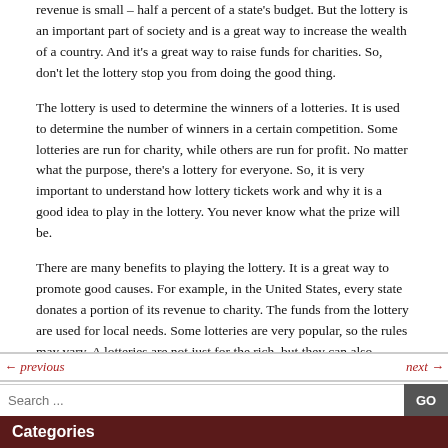revenue is small – half a percent of a state's budget. But the lottery is an important part of society and is a great way to increase the wealth of a country. And it's a great way to raise funds for charities. So, don't let the lottery stop you from doing the good thing.
The lottery is used to determine the winners of a lotteries. It is used to determine the number of winners in a certain competition. Some lotteries are run for charity, while others are run for profit. No matter what the purpose, there's a lottery for everyone. So, it is very important to understand how lottery tickets work and why it is a good idea to play in the lottery. You never know what the prize will be.
There are many benefits to playing the lottery. It is a great way to promote good causes. For example, in the United States, every state donates a portion of its revenue to charity. The funds from the lottery are used for local needs. Some lotteries are very popular, so the rules may vary. A lotteries are not just for the rich, but they can also benefit the poor. When you win the lottery, you have to pay taxes, and you should do it in a way that makes it fair to the other people.
Category: Gambling
← previous   next →
Search ...
Categories